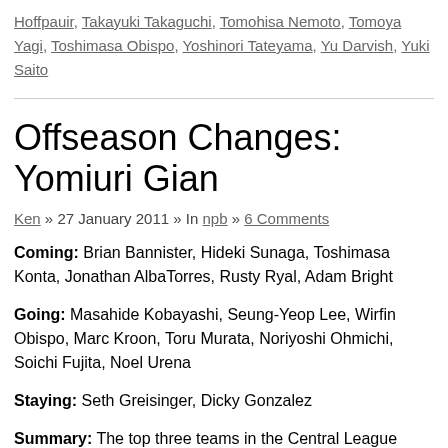Hoffpauir, Takayuki Takaguchi, Tomohisa Nemoto, Tomoya Yagi, Toshimasa Obispo, Yoshinori Tateyama, Yu Darvish, Yuki Saito
Offseason Changes: Yomiuri Giants
Ken » 27 January 2011 » In npb » 6 Comments
Coming: Brian Bannister, Hideki Sunaga, Toshimasa Konta, Jonathan Albaladejo, Torres, Rusty Ryal, Adam Bright
Going: Masahide Kobayashi, Seung-Yeop Lee, Wirfin Obispo, Marc Kroon, Toru Murata, Noriyoshi Ohmichi, Soichi Fujita, Noel Urena
Staying: Seth Greisinger, Dicky Gonzalez
Summary: The top three teams in the Central League (Chunichi, Hanshin, a...